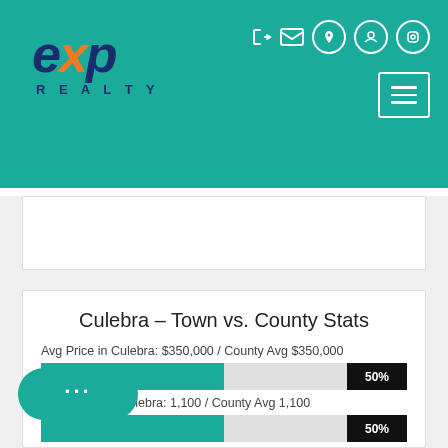[Figure (logo): eXp Realty logo in teal header with navigation icons]
Culebra – Town vs. County Stats
Avg Price in Culebra: $350,000 / County Avg $350,000
[Figure (bar-chart): Avg Price percentage]
Avg Sq. Ft. in Culebra: 1,100 / County Avg 1,100
[Figure (bar-chart): Avg Sq Ft percentage]
Price per/sqft in Culebra:$318 / County Avg $318
[Figure (bar-chart): Price per sqft percentage]